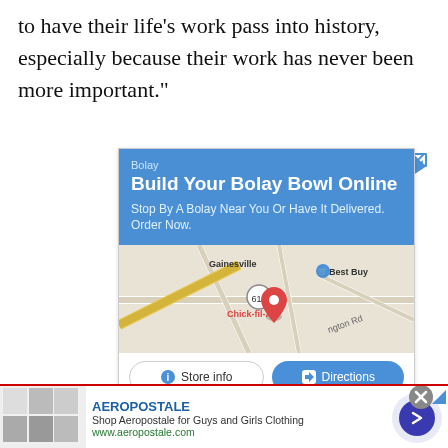to have their life’s work pass into history, especially because their work has never been more important.”
[Figure (screenshot): Bolay restaurant Google Ads advertisement showing 'Build Your Bolay Bowl Online' with a map showing location near Gainesville with Chick-fil-A and Best Buy nearby, and Store info and Directions buttons]
[Figure (screenshot): Aeropostale display advertisement showing brand name, 'Shop Aeropostale for Guys and Girls Clothing', www.aeropostale.com, with clothing thumbnails and a blue arrow circle button]